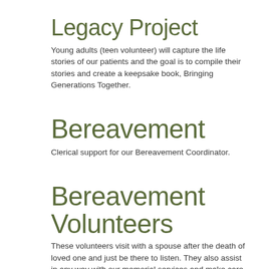Legacy Project
Young adults (teen volunteer) will capture the life stories of our patients and the goal is to compile their stories and create a keepsake book, Bringing Generations Together.
Bereavement
Clerical support for our Bereavement Coordinator.
Bereavement Volunteers
These volunteers visit with a spouse after the death of loved one and just be there to listen. They also assist in any way with our memorial services and make care calls to